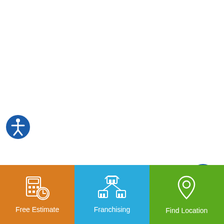[Figure (illustration): Blue circular accessibility icon with white person figure with arms extended]
Bieck Management Inc.
[Figure (illustration): Blue circular scroll-to-top arrow button]
"JAN-PRO has been such a pleasure to work with as their
[Figure (infographic): Bottom navigation bar with three sections: orange Free Estimate with calculator icon, blue Franchising with franchise network icon, green Find Location with map pin icon]